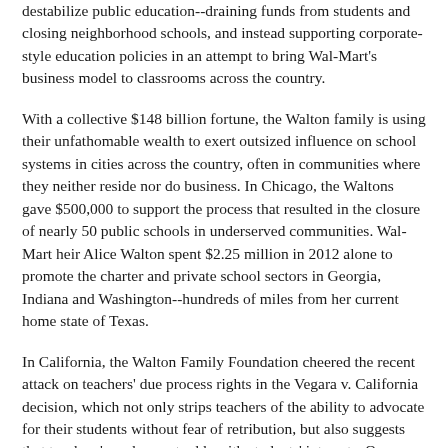destabilize public education--draining funds from students and closing neighborhood schools, and instead supporting corporate-style education policies in an attempt to bring Wal-Mart's business model to classrooms across the country.
With a collective $148 billion fortune, the Walton family is using their unfathomable wealth to exert outsized influence on school systems in cities across the country, often in communities where they neither reside nor do business. In Chicago, the Waltons gave $500,000 to support the process that resulted in the closure of nearly 50 public schools in underserved communities. Wal-Mart heir Alice Walton spent $2.25 million in 2012 alone to promote the charter and private school sectors in Georgia, Indiana and Washington--hundreds of miles from her current home state of Texas.
In California, the Walton Family Foundation cheered the recent attack on teachers' due process rights in the Vegara v. California decision, which not only strips teachers of the ability to advocate for their students without fear of retribution, but also suggests that teachers' needs are at odds with students' interests. One family member also contributed $250,000 to defeat a ballot measure that would have